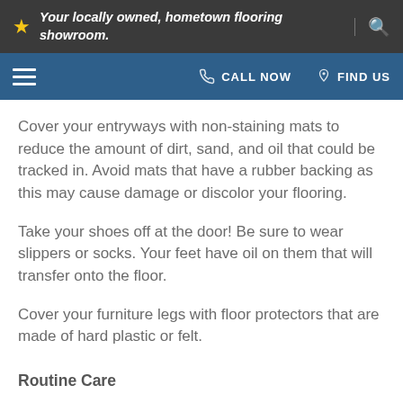Your locally owned, hometown flooring showroom.
Cover your entryways with non-staining mats to reduce the amount of dirt, sand, and oil that could be tracked in. Avoid mats that have a rubber backing as this may cause damage or discolor your flooring.
Take your shoes off at the door! Be sure to wear slippers or socks. Your feet have oil on them that will transfer onto the floor.
Cover your furniture legs with floor protectors that are made of hard plastic or felt.
Routine Care